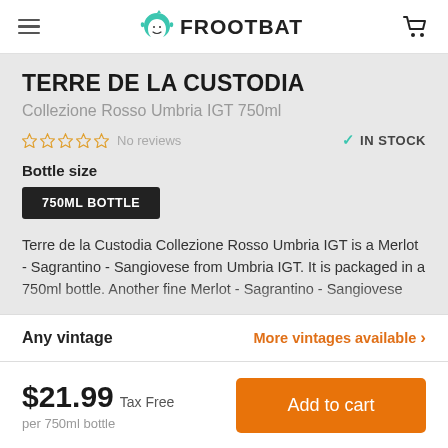FROOTBAT
TERRE DE LA CUSTODIA
Collezione Rosso Umbria IGT 750ml
No reviews   IN STOCK
Bottle size
750ML BOTTLE
Terre de la Custodia Collezione Rosso Umbria IGT is a Merlot - Sagrantino - Sangiovese from Umbria IGT. It is packaged in a 750ml bottle. Another fine Merlot - Sagrantino - Sangiovese...
Any vintage   More vintages available >
$21.99 Tax Free
per 750ml bottle
Add to cart